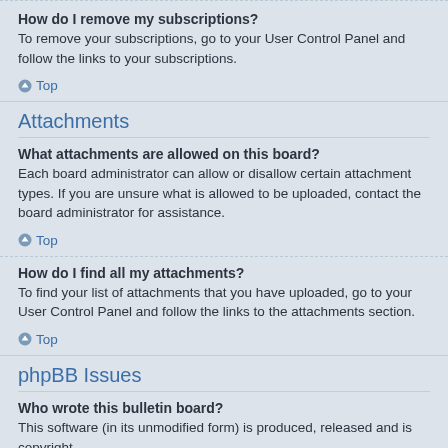How do I remove my subscriptions?
To remove your subscriptions, go to your User Control Panel and follow the links to your subscriptions.
Top
Attachments
What attachments are allowed on this board?
Each board administrator can allow or disallow certain attachment types. If you are unsure what is allowed to be uploaded, contact the board administrator for assistance.
Top
How do I find all my attachments?
To find your list of attachments that you have uploaded, go to your User Control Panel and follow the links to the attachments section.
Top
phpBB Issues
Who wrote this bulletin board?
This software (in its unmodified form) is produced, released and is copyright